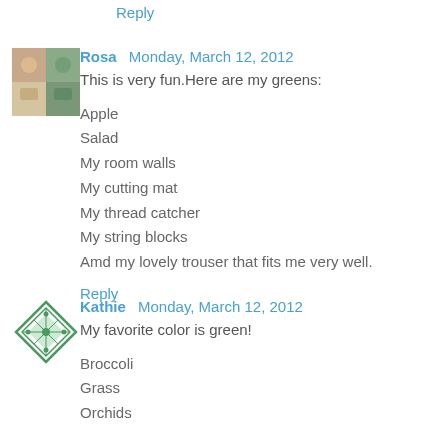Reply
[Figure (photo): Avatar photo of Rosa showing crafting items]
Rosa  Monday, March 12, 2012
This is very fun.Here are my greens:
Apple
Salad
My room walls
My cutting mat
My thread catcher
My string blocks
Amd my lovely trouser that fits me very well.
Reply
[Figure (illustration): Kathie avatar green diamond quilt pattern icon]
Kathie  Monday, March 12, 2012
My favorite color is green!
Broccoli
Grass
Orchids